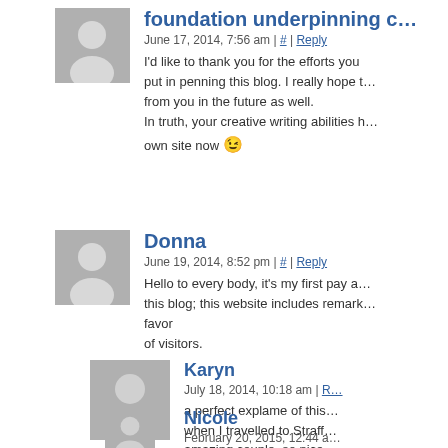foundation underpinning c…
June 17, 2014, 7:56 am | # | Reply
I'd like to thank you for the efforts you put in penning this blog. I really hope t… from you in the future as well. In truth, your creative writing abilities h… own site now 😉
Donna
June 19, 2014, 8:52 pm | # | Reply
Hello to every body, it's my first pay a… this blog; this website includes remark… favor of visitors.
Karyn
July 18, 2014, 10:18 am | R…
a perfect explame of this… when I travelled to Straff… amazing couple, so nice… excited to meet who was…
Nicole
February 20, 2015, 12:44 a…